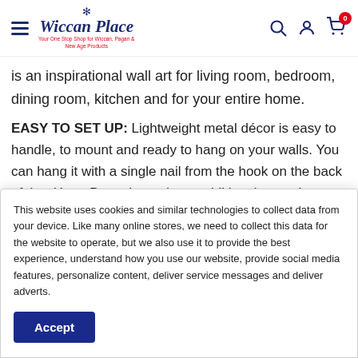Wiccan Place — Your One Stop Shop for Wiccan, Pagan & New Age Products
is an inspirational wall art for living room, bedroom, dining room, kitchen and for your entire home.
EASY TO SET UP: Lightweight metal décor is easy to handle, to mount and ready to hang on your walls. You can hang it with a single nail from the hook on the back of the décor. Doesn't need any additional mounting process.
DESIGNED BY NORTHSHIRE WITH: "I love how these simple
This website uses cookies and similar technologies to collect data from your device. Like many online stores, we need to collect this data for the website to operate, but we also use it to provide the best experience, understand how you use our website, provide social media features, personalize content, deliver service messages and deliver adverts.